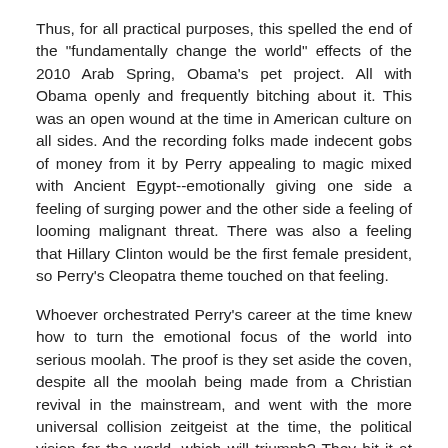Thus, for all practical purposes, this spelled the end of the "fundamentally change the world" effects of the 2010 Arab Spring, Obama's pet project. All with Obama openly and frequently bitching about it. This was an open wound at the time in American culture on all sides. And the recording folks made indecent gobs of money from it by Perry appealing to magic mixed with Ancient Egypt--emotionally giving one side a feeling of surging power and the other side a feeling of looming malignant threat. There was also a feeling that Hillary Clinton would be the first female president, so Perry's Cleopatra theme touched on that feeling.
Whoever orchestrated Perry's career at the time knew how to turn the emotional focus of the world into serious moolah. The proof is they set aside the coven, despite all the moolah being made from a Christian revival in the mainstream, and went with the more universal collision zeitgeist at the time, the political vision for the world--which will triumph? They hit it at just the right time and in just the right place.
Back to Cardi B and Megan Thee Stallion